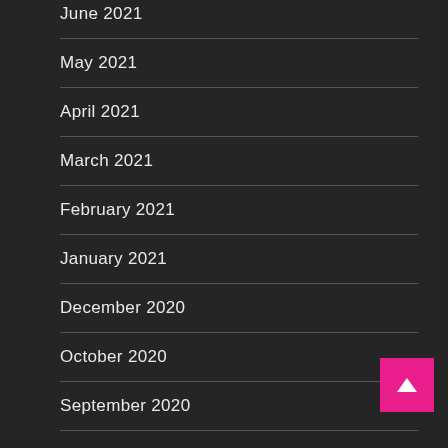June 2021
May 2021
April 2021
March 2021
February 2021
January 2021
December 2020
October 2020
September 2020
August 2020
April 2020
February 2020